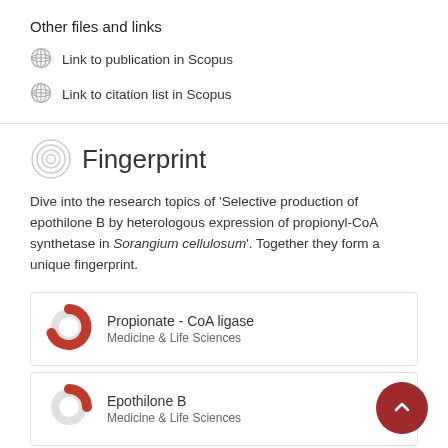Other files and links
Link to publication in Scopus
Link to citation list in Scopus
Fingerprint
Dive into the research topics of 'Selective production of epothilone B by heterologous expression of propionyl-CoA synthetase in Sorangium cellulosum'. Together they form a unique fingerprint.
Propionate - CoA ligase
Medicine & Life Sciences
Epothilone B
Medicine & Life Sciences